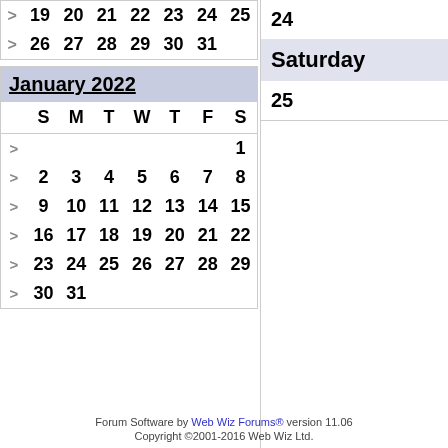| > | 19 | 20 | 21 | 22 | 23 | 24 | 25 |
| --- | --- | --- | --- | --- | --- | --- | --- |
| > | 26 | 27 | 28 | 29 | 30 | 31 |  |
| January 2022 |
| --- |
|  | S | M | T | W | T | F | S |
| > |  |  |  |  |  |  | 1 |
| > | 2 | 3 | 4 | 5 | 6 | 7 | 8 |
| > | 9 | 10 | 11 | 12 | 13 | 14 | 15 |
| > | 16 | 17 | 18 | 19 | 20 | 21 | 22 |
| > | 23 | 24 | 25 | 26 | 27 | 28 | 29 |
| > | 30 | 31 |  |  |  |  |  |
24
Saturday
25
Forum Software by Web Wiz Forums® version 11.06
Copyright ©2001-2016 Web Wiz Ltd.